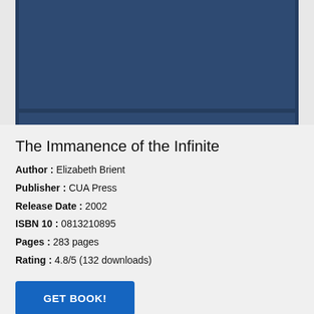[Figure (photo): Dark navy blue hardcover book, cropped showing the top portion of the cover with no visible text or imagery on it.]
The Immanence of the Infinite
Author : Elizabeth Brient
Publisher : CUA Press
Release Date : 2002
ISBN 10 : 0813210895
Pages : 283 pages
Rating : 4.8/5 (132 downloads)
GET BOOK!